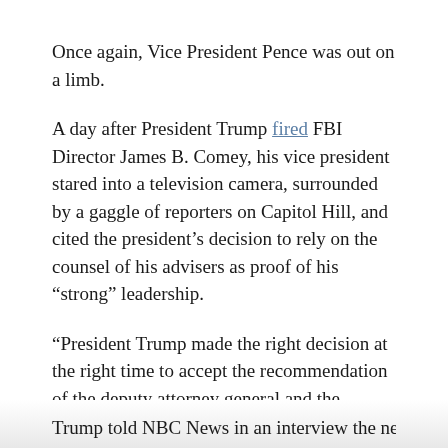Once again, Vice President Pence was out on a limb.
A day after President Trump fired FBI Director James B. Comey, his vice president stared into a television camera, surrounded by a gaggle of reporters on Capitol Hill, and cited the president’s decision to rely on the counsel of his advisers as proof of his “strong” leadership.
“President Trump made the right decision at the right time to accept the recommendation of the deputy attorney general and the attorney general to ask for the termination” of Comey, Pence said.
But that wasn’t true.
Trump told NBC News in an interview the next day that...